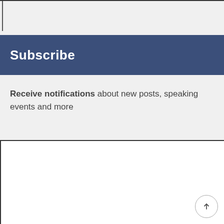Subscribe
Receive notifications about new posts, speaking events and more
Facebook Posts
Kent Nerburn's cover photo
Photo
View on Facebook · Share